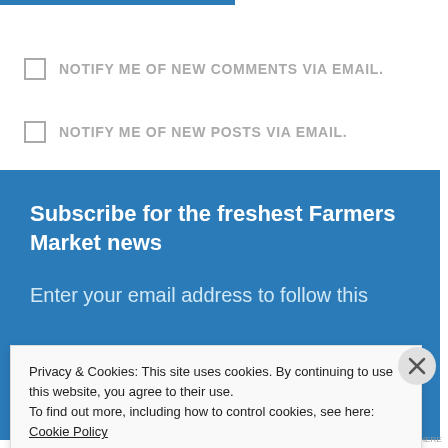NOTIFY ME OF NEW COMMENTS VIA EMAIL.
NOTIFY ME OF NEW POSTS VIA EMAIL.
Subscribe for the freshest Farmers Market news
Enter your email address to follow this
Privacy & Cookies: This site uses cookies. By continuing to use this website, you agree to their use. To find out more, including how to control cookies, see here: Cookie Policy
Close and accept